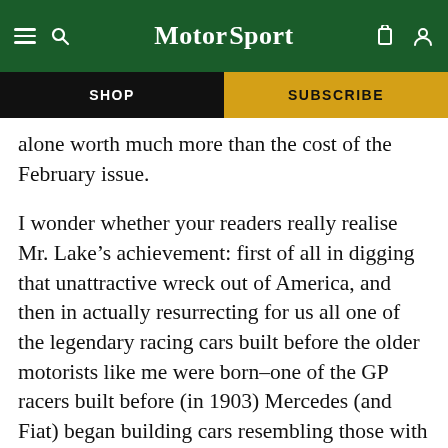Motor Sport
SHOP
SUBSCRIBE
alone worth much more than the cost of the February issue.
I wonder whether your readers really realise Mr. Lake’s achievement: first of all in digging that unattractive wreck out of America, and then in actually resurrecting for us all one of the legendary racing cars built before the older motorists like me were born–one of the GP racers built before (in 1903) Mercedes (and Fiat) began building cars resembling those with which we have all become familiar since. I have so often wondered what those old gilled-tube-